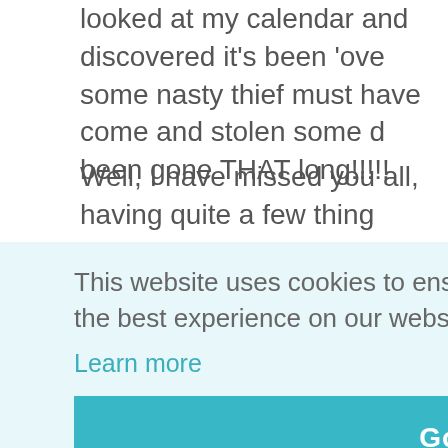looked at my calendar and discovered it's been 'ove... some nasty thief must have come and stolen some ... been gone THAT long!!!!!
Well, I have missed you all, having quite a few thing... that are taking up ALL of my time, with very little left ... didn't like to work (extemes!!)....so it has been pretty... But my dear lovely bloggy friends didn't forget me a... me the push I needed to get my priorities in order a... little mmooohhhh, and couldn't put my finger on it b...
This website uses cookies to ensure you get the best experience on our website. Learn more
Got it!
in stitch... ck! I've l... nd boy d... blogland... !!!!!
squeezed... photo of one!!!. Here 'tis: